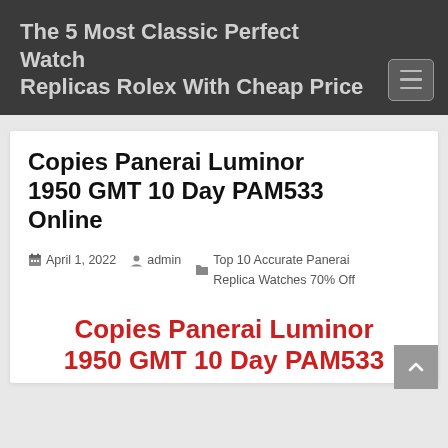The 5 Most Classic Perfect Watch Replicas Rolex With Cheap Price
Copies Panerai Luminor 1950 GMT 10 Day PAM533 Online
April 1, 2022  admin  Top 10 Accurate Panerai Replica Watches 70% Off
Copies Panerai Luminor 1950 GMT 10 Day PAM533